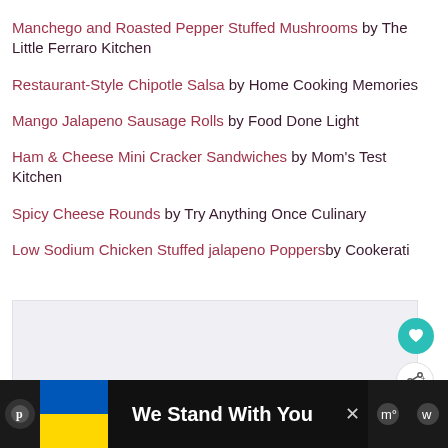Manchego and Roasted Pepper Stuffed Mushrooms by The Little Ferraro Kitchen
Restaurant-Style Chipotle Salsa by Home Cooking Memories
Mango Jalapeno Sausage Rolls by Food Done Light
Ham & Cheese Mini Cracker Sandwiches by Mom's Test Kitchen
Spicy Cheese Rounds by Try Anything Once Culinary
Low Sodium Chicken Stuffed jalapeno Poppers by Cookerati
[Figure (other): Gray placeholder content area with a teal heart button and a white share button on the right side]
[Figure (infographic): Advertisement bar at bottom: Pinterest icon, Ukrainian flag (blue and yellow), 'We Stand With You' text, close button, and social media icons on right]